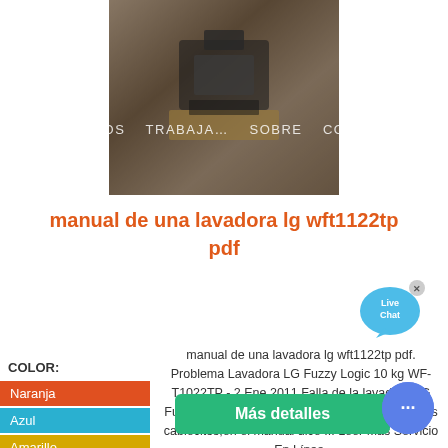[Figure (photo): Photo of industrial/electrical equipment, possibly a transformer or motor]
SERVICIOS  TRABAJA…  SOBRE  CONTACTO
manual de una lavadora lg wft1122tp pdf
[Figure (other): Live Chat bubble icon with X close button]
manual de una lavadora lg wft1122tp pdf. Problema Lavadora LG Fuzzy Logic 10 kg WF-T1022TP - 2 Ene 2011 Falla de la lavadora LG Fuzzy Logic 10 kg WF-T1022TP al realizar el dos cablecitos,en el manual dice ... Leer Más Servicio En Línea.
COLOR:
Naranja
Azul
Amarillo
Más detalles